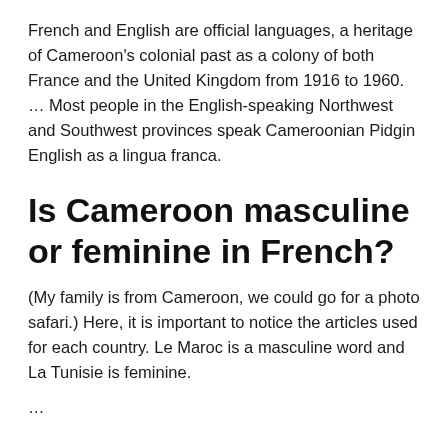French and English are official languages, a heritage of Cameroon's colonial past as a colony of both France and the United Kingdom from 1916 to 1960. … Most people in the English-speaking Northwest and Southwest provinces speak Cameroonian Pidgin English as a lingua franca.
Is Cameroon masculine or feminine in French?
(My family is from Cameroon, we could go for a photo safari.) Here, it is important to notice the articles used for each country. Le Maroc is a masculine word and La Tunisie is feminine.
…